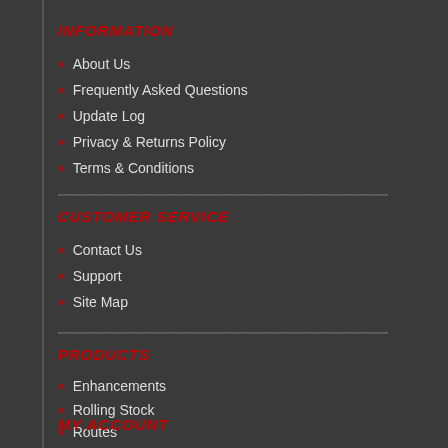INFORMATION
About Us
Frequently Asked Questions
Update Log
Privacy & Returns Policy
Terms & Conditions
CUSTOMER SERVICE
Contact Us
Support
Site Map
PRODUCTS
Enhancements
Rolling Stock
Routes
Scenarios
Sounds
MY ACCOUNT